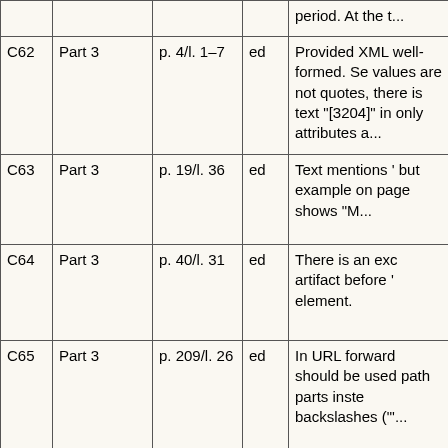|  |  |  |  |  |
| --- | --- | --- | --- | --- |
|  |  |  |  | period. At the t... |
| C62 | Part 3 | p. 4/l. 1–7 | ed | Provided XML well-formed. Se values are not quotes, there is text "[3204]" in only attributes a... |
| C63 | Part 3 | p. 19/l. 36 | ed | Text mentions ' but example on page shows "M... |
| C64 | Part 3 | p. 40/l. 31 | ed | There is an exc artifact before ' element. |
| C65 | Part 3 | p. 209/l. 26 | ed | In URL forward should be used path parts inste backslashes ("'... |